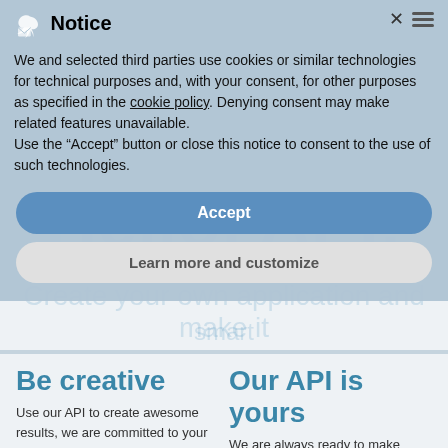Notice
We and selected third parties use cookies or similar technologies for technical purposes and, with your consent, for other purposes as specified in the cookie policy. Denying consent may make related features unavailable.
Use the “Accept” button or close this notice to consent to the use of such technologies.
Accept
Learn more and customize
Be creative
Use our API to create awesome results, we are committed to your success.
Our API is yours
We are always ready to make things easier for you. We listen